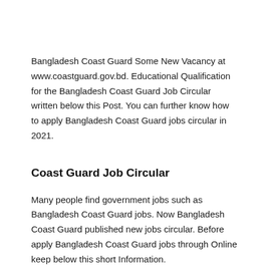Bangladesh Coast Guard Some New Vacancy at www.coastguard.gov.bd. Educational Qualification for the Bangladesh Coast Guard Job Circular written below this Post. You can further know how to apply Bangladesh Coast Guard jobs circular in 2021.
Coast Guard Job Circular
Many people find government jobs such as Bangladesh Coast Guard jobs. Now Bangladesh Coast Guard published new jobs circular. Before apply Bangladesh Coast Guard jobs through Online keep below this short Information.